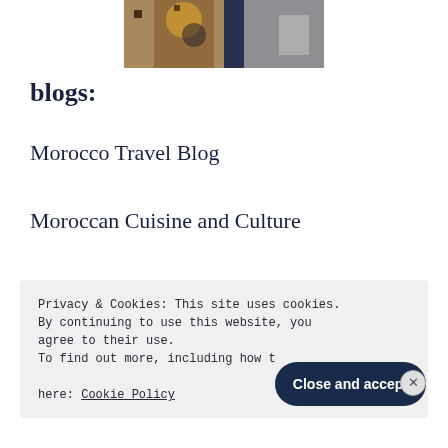[Figure (photo): Partial photo showing people in patterned clothing, cropped at top of page]
blogs:
Morocco Travel Blog
Moroccan Cuisine and Culture
Venice Travel Tips ( Italy)
Moroccan Riads
Privacy & Cookies: This site uses cookies. By continuing to use this website, you agree to their use.
To find out more, including how to control cookies, see here: Cookie Policy
Close and accept